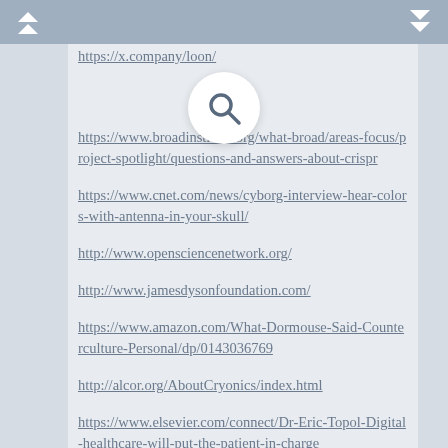https://x.company/loon/
https://www.broadinstitute.org/what-broad/areas-focus/project-spotlight/questions-and-answers-about-crispr
https://www.cnet.com/news/cyborg-interview-hear-colors-with-antenna-in-your-skull/
http://www.opensciencenetwork.org/
http://www.jamesdysonfoundation.com/
https://www.amazon.com/What-Dormouse-Said-Counterculture-Personal/dp/0143036769
http://alcor.org/AboutCryonics/index.html
https://www.elsevier.com/connect/Dr-Eric-Topol-Digital-healthcare-will-put-the-patient-in-charge